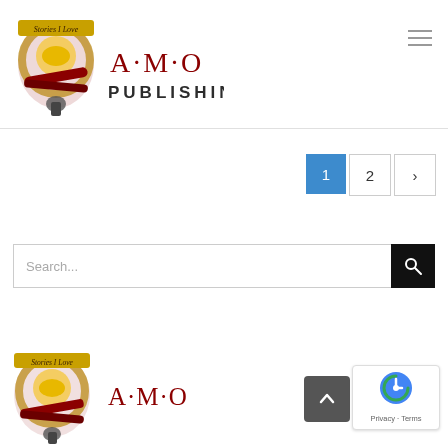[Figure (logo): AMO Publishing logo with crest and 'Stories I Love' banner, showing A·M·O PUBLISHING text in dark red/maroon]
[Figure (other): Hamburger menu icon (three horizontal lines) in top right corner]
[Figure (other): Pagination controls: blue button '1' (active), white button '2', white button '>' (next)]
[Figure (other): Search bar with placeholder 'Search...' and black search button with magnifying glass icon]
[Figure (logo): AMO Publishing logo repeated at bottom left, showing crest with 'Stories I Love' and A·M·O text]
[Figure (other): Scroll to top button (dark grey square with up chevron)]
[Figure (other): Google reCAPTCHA badge with logo and 'Privacy · Terms' text]